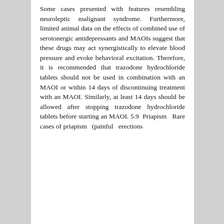Some cases presented with features resembling neuroleptic malignant syndrome. Furthermore, limited animal data on the effects of combined use of serotonergic antidepressants and MAOIs suggest that these drugs may act synergistically to elevate blood pressure and evoke behavioral excitation. Therefore, it is recommended that trazodone hydrochloride tablets should not be used in combination with an MAOI or within 14 days of discontinuing treatment with an MAOI. Similarly, at least 14 days should be allowed after stopping trazodone hydrochloride tablets before starting an MAOI. 5.9 Priapism Rare cases of priapism (painful erections